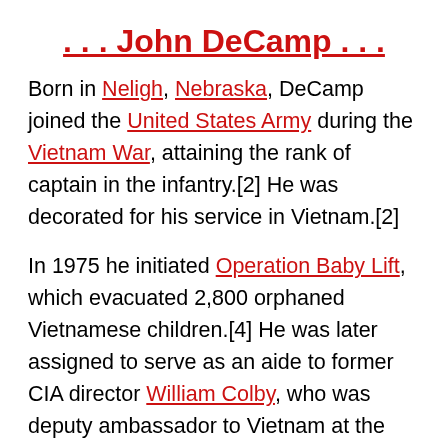. . . John DeCamp . . .
Born in Neligh, Nebraska, DeCamp joined the United States Army during the Vietnam War, attaining the rank of captain in the infantry.[2] He was decorated for his service in Vietnam.[2]
In 1975 he initiated Operation Baby Lift, which evacuated 2,800 orphaned Vietnamese children.[4] He was later assigned to serve as an aide to former CIA director William Colby, who was deputy ambassador to Vietnam at the time.
Beginning his campaign for election while still stationed in Vietnam, DeCamp was elected and served four terms as a Nebraska state senator, from 1971 to 1987. He was described as "a strong advocate for veterans".[2]